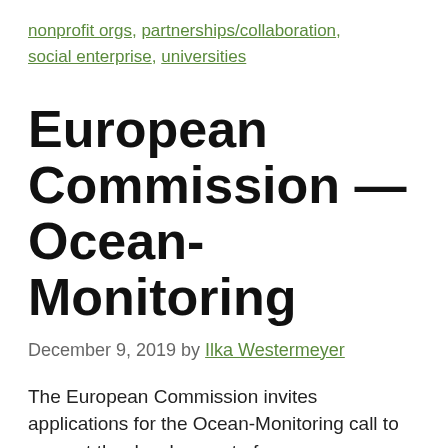nonprofit orgs, partnerships/collaboration, social enterprise, universities
European Commission — Ocean-Monitoring
December 9, 2019 by Ilka Westermeyer
The European Commission invites applications for the Ocean-Monitoring call to support the development of ocean energy. The objectives of this call are to increase the amount of environmental data and improve